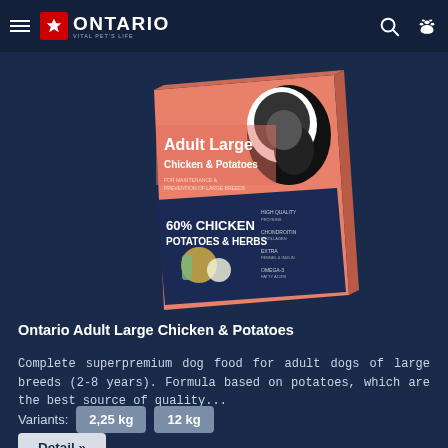Ontario - vital pet's life (navigation header with hamburger menu, logo, search and paw icons)
[Figure (photo): Product photo of Ontario Adult Large Chicken & Potatoes dog food box, showing a large breed dog on a salmon/pink colored package with text '60% Chicken Potatoes & Herbs', tilted perspective view on dark blue background]
Ontario Adult Large Chicken & Potatoes
Complete superpremium dog food for adult dogs of large breeds (2-8 years). Formula based on potatoes, which are the best source of quality...
Variants: 2,25 kg  12 kg
Detail >>